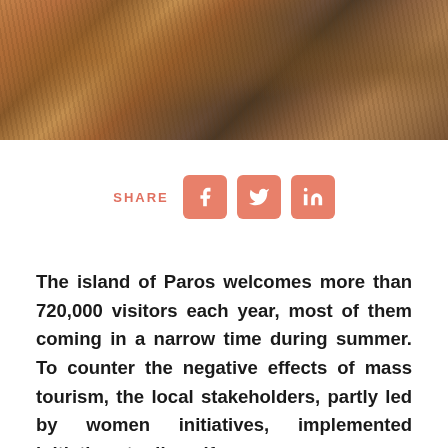[Figure (photo): Aerial or close-up photo of dry rocky Mediterranean scrubland vegetation in warm brown and amber tones]
[Figure (infographic): Social share buttons: Facebook, Twitter, LinkedIn icons in salmon/coral color with SHARE label]
The island of Paros welcomes more than 720,000 visitors each year, most of them coming in a narrow time during summer. To counter the negative effects of mass tourism, the local stakeholders, partly led by women initiatives, implemented initiatives to diversify